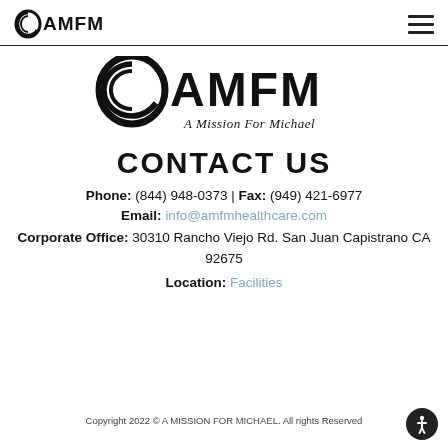OAMFM [logo with hamburger menu]
[Figure (logo): AMFM logo with spiral O, text 'OAMFM' and tagline 'A Mission For Michael']
CONTACT US
Phone: (844) 948-0373 | Fax: (949) 421-6977
Email: info@amfmhealthcare.com
Corporate Office: 30310 Rancho Viejo Rd. San Juan Capistrano CA 92675
Location: Facilities
Copyright 2022 © A MISSION FOR MICHAEL. All rights Reserved